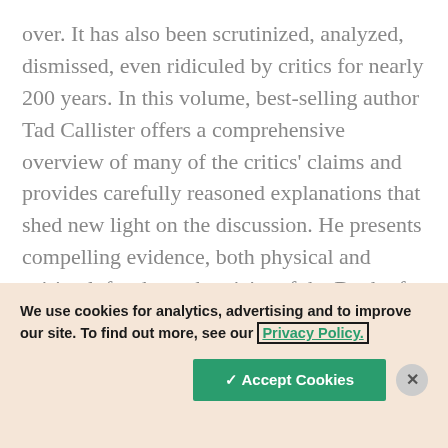over. It has also been scrutinized, analyzed, dismissed, even ridiculed by critics for nearly 200 years. In this volume, best-selling author Tad Callister offers a comprehensive overview of many of the critics' claims and provides carefully reasoned explanations that shed new light on the discussion. He presents compelling evidence, both physical and spiritual, for the authenticity of the Book of Mormon and invites readers on a spiritual journey that promises a witness stronger than
We use cookies for analytics, advertising and to improve our site. To find out more, see our Privacy Policy.